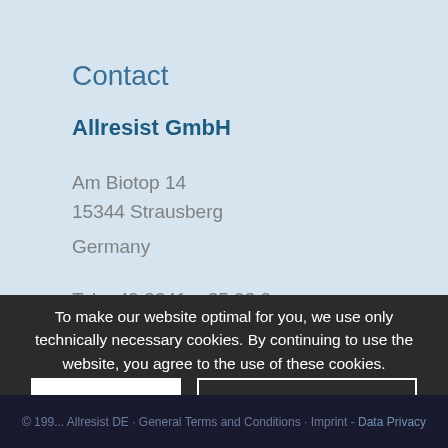Contact
Allresist GmbH
Am Biotop 14
15344 Strausberg
Germany
Tel: +49 3341 – 35 93  0
Fax: +49 3341 – 35 93  29
To make our website optimal for you, we use only technically necessary cookies. By continuing to use the website, you agree to the use of these cookies.
OK
More Information
© 199... Allresist DE · General Terms and Conditions · Imprint - Data Privacy